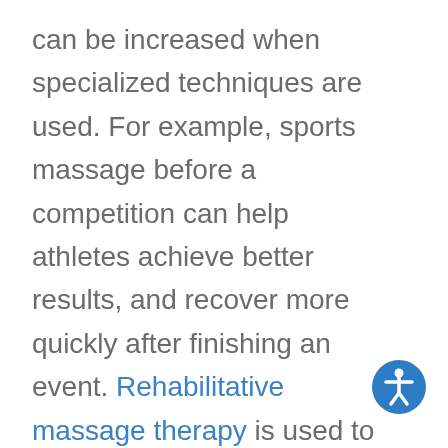can be increased when specialized techniques are used. For example, sports massage before a competition can help athletes achieve better results, and recover more quickly after finishing an event. Rehabilitative massage therapy is used to help injured
[Figure (illustration): Accessibility icon: a blue circle with a white human figure symbol (person with arms and legs spread)]